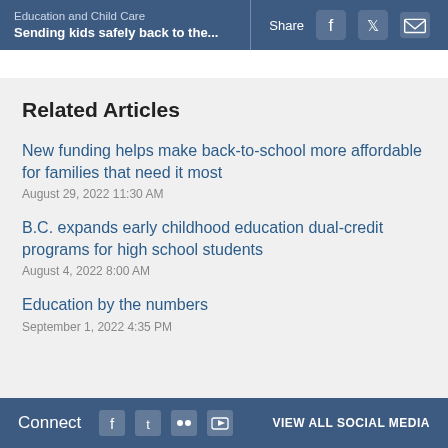Education and Child Care
Sending kids safely back to the...
Related Articles
New funding helps make back-to-school more affordable for families that need it most
August 29, 2022 11:30 AM
B.C. expands early childhood education dual-credit programs for high school students
August 4, 2022 8:00 AM
Education by the numbers
September 1, 2022 4:35 PM
Connect  VIEW ALL SOCIAL MEDIA